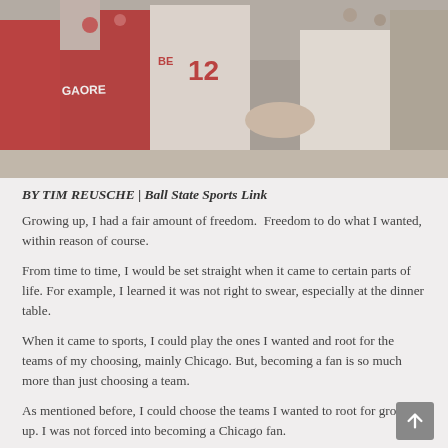[Figure (photo): Basketball players in red/white uniforms, player #12 shaking hands with a coach or person in white shirt, crowd in background]
BY TIM REUSCHE | Ball State Sports Link
Growing up, I had a fair amount of freedom.  Freedom to do what I wanted, within reason of course.
From time to time, I would be set straight when it came to certain parts of life. For example, I learned it was not right to swear, especially at the dinner table.
When it came to sports, I could play the ones I wanted and root for the teams of my choosing, mainly Chicago. But, becoming a fan is so much more than just choosing a team.
As mentioned before, I could choose the teams I wanted to root for growing up. I was not forced into becoming a Chicago fan.
For the entirety of the 2000s I had endured, what I thought at the time, was much heartbreak. From the Bulls never getting